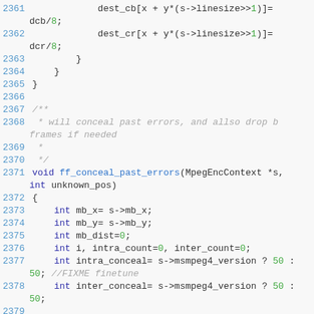Source code listing, lines 2361-2379, C code for MPEG encoding concealment functions